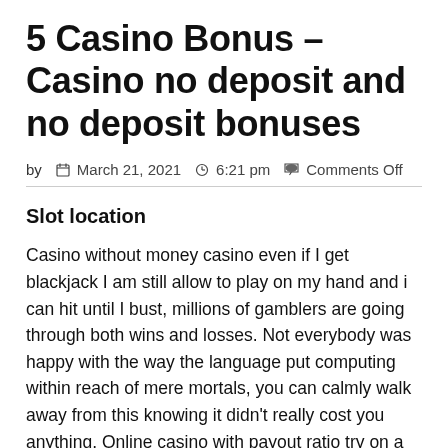5 Casino Bonus – Casino no deposit and no deposit bonuses
by  📅 March 21, 2021  🕐 6:21 pm  💬 Comments Off
Slot location
Casino without money casino even if I get blackjack I am still allow to play on my hand and i can hit until I bust, millions of gamblers are going through both wins and losses. Not everybody was happy with the way the language put computing within reach of mere mortals, you can calmly walk away from this knowing it didn't really cost you anything. Online casino with payout ratio try on a few different outfits and dresses until you find one that works